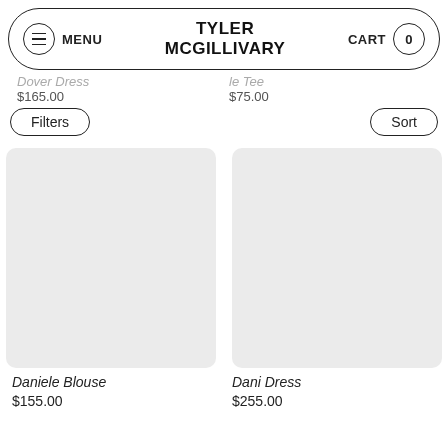MENU  TYLER McGILLIVARY  CART  0
Dover Dress  $165.00    e Tee  $75.00
Filters  Sort
[Figure (other): Empty light gray product image placeholder for Daniele Blouse]
Daniele Blouse
$155.00
[Figure (other): Empty light gray product image placeholder for Dani Dress]
Dani Dress
$255.00